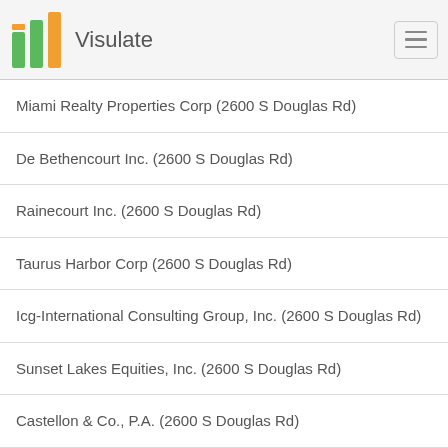Visulate
Miami Realty Properties Corp (2600 S Douglas Rd)
De Bethencourt Inc. (2600 S Douglas Rd)
Rainecourt Inc. (2600 S Douglas Rd)
Taurus Harbor Corp (2600 S Douglas Rd)
Icg-International Consulting Group, Inc. (2600 S Douglas Rd)
Sunset Lakes Equities, Inc. (2600 S Douglas Rd)
Castellon & Co., P.A. (2600 S Douglas Rd)
Blue Reef Of South Florida, Inc. (2600 S Douglas Rd)
Jorge L. Gurian, P.A. (2600 S Douglas Rd)
Florida Secured Title, LLC (2600 S Douglas Rd)